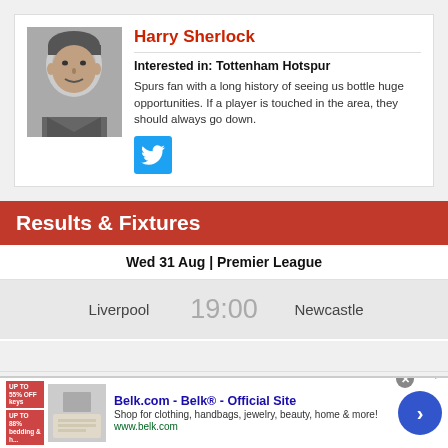[Figure (photo): Black and white photo of Harry Sherlock, a man smiling]
Harry Sherlock
Interested in: Tottenham Hotspur
Spurs fan with a long history of seeing us bottle huge opportunities. If a player is touched in the area, they should always go down.
[Figure (logo): Twitter bird logo icon in blue square]
Results & Fixtures
Wed 31 Aug | Premier League
Liverpool   19:00   Newcastle
[Figure (screenshot): Advertisement banner for Belk.com - Belk Official Site showing clothing/home goods image with navigation arrow]